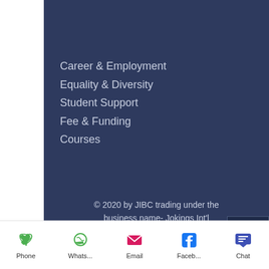Career & Employment
Equality & Diversity
Student Support
Fee & Funding
Courses
© 2020 by JIBC trading under the business name- Jokings Int'l College Ltd 08113863
[Figure (infographic): Back to top arrow button]
Phone  Whats...  Email  Faceb...  Chat